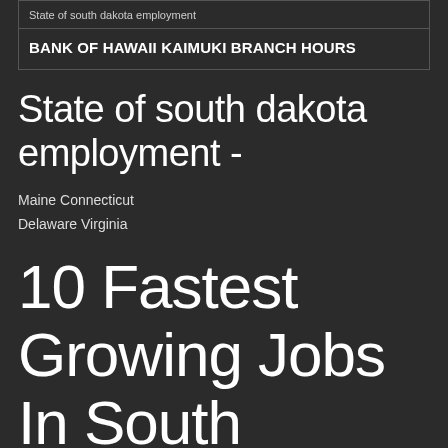State of south dakota employment
BANK OF HAWAII KAIMUKI BRANCH HOURS
State of south dakota employment -
Maine Connecticut
Delaware Virginia
10 Fastest Growing Jobs In South Dakota